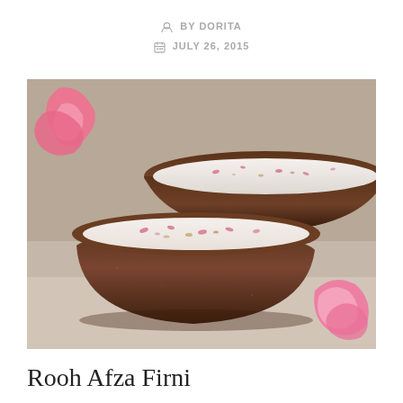BY DORITA
JULY 26, 2015
[Figure (photo): Two clay/terracotta bowls filled with white firni (rice pudding) topped with dried rose petals and nuts, with fresh pink rose petals scattered on a light surface around them. Close-up food photography.]
Rooh Afza Firni